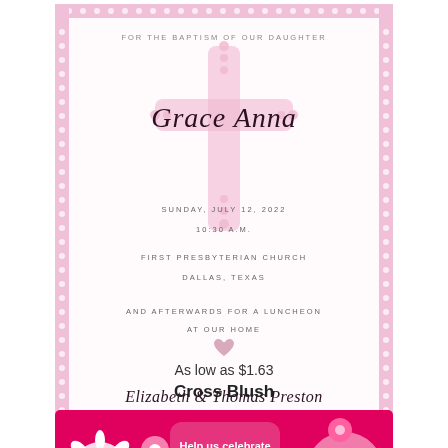[Figure (illustration): Baptism invitation card for Grace Anna. Pink polka dot border with decorative cross. Text: FOR THE BAPTISM OF OUR DAUGHTER, Grace Anna (script), SUNDAY, JULY 12, 2022, 10:30 A.M., FIRST PRESBYTERIAN CHURCH, DALLAS, TEXAS, AND AFTERWARDS FOR A LUNCHEON AT OUR HOME, Elizabeth & Thomas Preston (script).]
As low as $1.63
Cross Blush
[Figure (illustration): Second product card with hot pink floral background and white text reading: Help us celebrate love and new life as we baptize:]